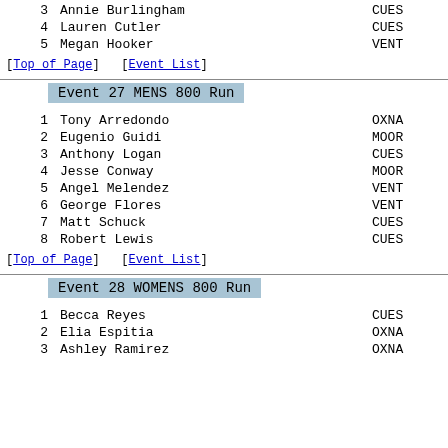3   Annie Burlingham   CUES
4   Lauren Cutler   CUES
5   Megan Hooker   VENT
[Top of Page]   [Event List]
Event 27 MENS 800 Run
1   Tony Arredondo   OXNA
2   Eugenio Guidi   MOOR
3   Anthony Logan   CUES
4   Jesse Conway   MOOR
5   Angel Melendez   VENT
6   George Flores   VENT
7   Matt Schuck   CUES
8   Robert Lewis   CUES
[Top of Page]   [Event List]
Event 28 WOMENS 800 Run
1   Becca Reyes   CUES
2   Elia Espitia   OXNA
3   Ashley Ramirez   OXNA